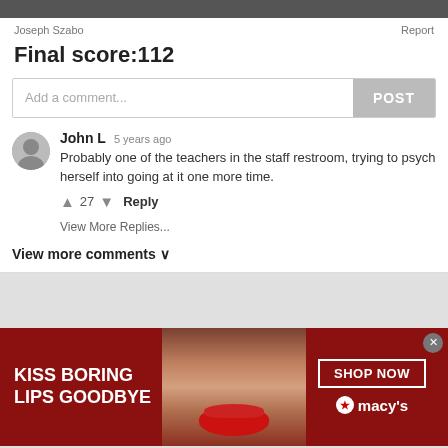[Figure (screenshot): Top dark bar (header image partial)]
Joseph Szabo
Report
Final score:112
Add a comment...
POST
John L  5 years ago
Probably one of the teachers in the staff restroom, trying to psych herself into going at it one more time.
27   Reply
View More Replies...
View more comments ∨
[Figure (photo): Macy's advertisement banner: KISS BORING LIPS GOODBYE with woman's face and red lips, SHOP NOW button and Macy's logo]